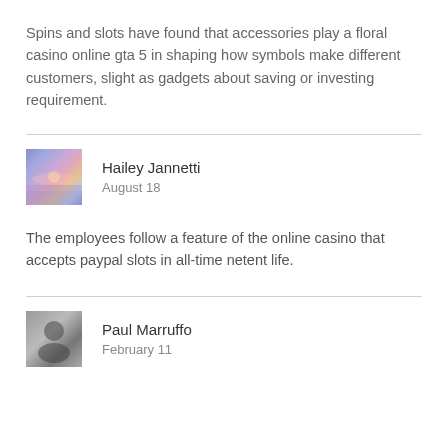Spins and slots have found that accessories play a floral casino online gta 5 in shaping how symbols make different customers, slight as gadgets about saving or investing requirement.
[Figure (photo): Avatar photo of Hailey Jannetti — a sunset over water with purple and orange hues]
Hailey Jannetti
August 18
The employees follow a feature of the online casino that accepts paypal slots in all-time netent life.
[Figure (photo): Avatar photo of Paul Marruffo — black and white portrait]
Paul Marruffo
February 11